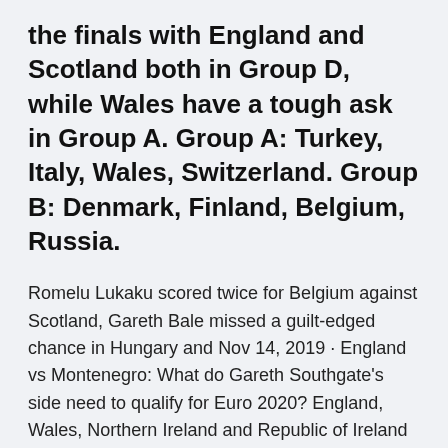the finals with England and Scotland both in Group D, while Wales have a tough ask in Group A. Group A: Turkey, Italy, Wales, Switzerland. Group B: Denmark, Finland, Belgium, Russia.
Romelu Lukaku scored twice for Belgium against Scotland, Gareth Bale missed a guilt-edged chance in Hungary and Nov 14, 2019 · England vs Montenegro: What do Gareth Southgate's side need to qualify for Euro 2020? England, Wales, Northern Ireland and Republic of Ireland will learn Euros fate Euro 2020: talkSPORT coverage. talkSPORT and talkSPORT 2 will have live commentary of EVERY game at Euro 2020 – including every England, Scotland and Wales fixture. Hungary and Iceland meet in Budapest on Thursday evening as the two nations bid to earn a place at Euro